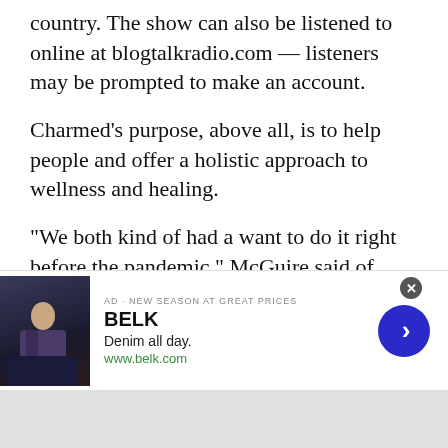country. The show can also be listened to online at blogtalkradio.com — listeners may be prompted to make an account.
Charmed's purpose, above all, is to help people and offer a holistic approach to wellness and healing.
“We both kind of had a want to do it right before the pandemic,” McGuire said of opening the shop. “I felt like it was something universally telling us it was time.”
Even though they started at the East Meadow storefront, they built a strong customer base and made it through the initial pandemic shutdown
[Figure (screenshot): Advertisement banner for BELK showing 'Denim all day.' with www.belk.com URL, a dark fashion image on the left, a close button (X), and a blue circular arrow button on the right.]